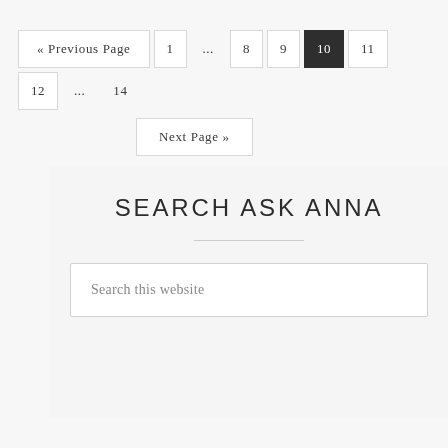« Previous Page  1  ...  8  9  10  11  12  ...  14
Next Page »
SEARCH ASK ANNA
Search this website